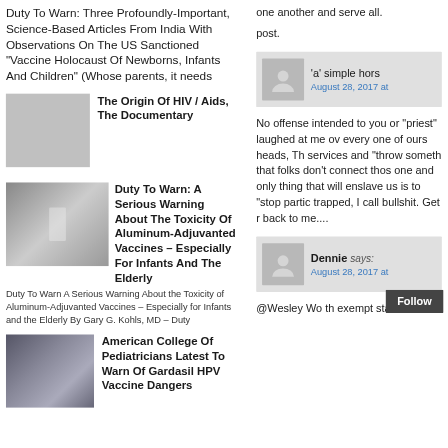Duty To Warn: Three Profoundly-Important, Science-Based Articles From India With Observations On The US Sanctioned "Vaccine Holocaust Of Newborns, Infants And Children" (Whose parents, it needs
[Figure (photo): Thumbnail image placeholder for HIV/AIDS documentary article]
The Origin Of HIV / Aids, The Documentary
[Figure (photo): Thumbnail image of a syringe being held]
Duty To Warn: A Serious Warning About The Toxicity Of Aluminum-Adjuvanted Vaccines – Especially For Infants And The Elderly
Duty To Warn A Serious Warning About the Toxicity of Aluminum-Adjuvanted Vaccines – Especially for Infants and the Elderly By Gary G. Kohls, MD – Duty
[Figure (photo): Thumbnail image of a group of children]
American College Of Pediatricians Latest To Warn Of Gardasil HPV Vaccine Dangers
one another and serve all.

post.
'a' simple hors
August 28, 2017 at
No offense intended to you or "priest" laughed at me ov every one of ours heads, Th services and "throw someth that folks don't connect thos one and only thing that will enslave us is to "stop partic trapped, I call bullshit. Get r back to me....
Dennie says:
August 28, 2017 at
@Wesley Wo th exempt statu